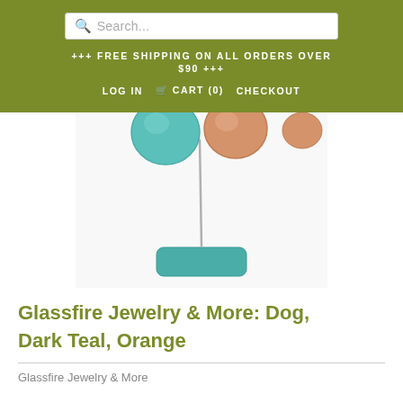Search...
+++ FREE SHIPPING ON ALL ORDERS OVER $90 +++
LOG IN  CART (0)  CHECKOUT
[Figure (photo): A decorative glass dog sculpture in dark teal color with orange accents, mounted on a thin wire stem attached to a teal rectangular base. The image is cropped showing primarily the base and lower stem portion.]
Glassfire Jewelry & More: Dog, Dark Teal, Orange
Glassfire Jewelry & More